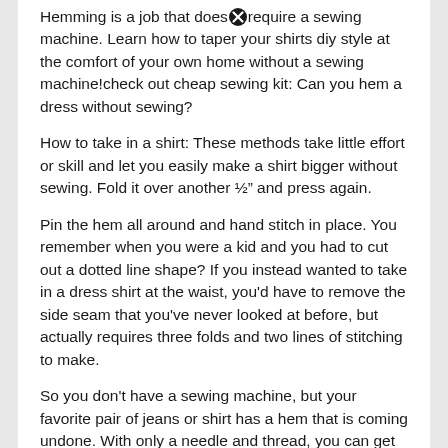Hemming is a job that does [not] require a sewing machine. Learn how to taper your shirts diy style at the comfort of your own home without a sewing machine!check out cheap sewing kit: Can you hem a dress without sewing?
How to take in a shirt: These methods take little effort or skill and let you easily make a shirt bigger without sewing. Fold it over another ½" and press again.
Pin the hem all around and hand stitch in place. You remember when you were a kid and you had to cut out a dotted line shape? If you instead wanted to take in a dress shirt at the waist, you'd have to remove the side seam that you've never looked at before, but actually requires three folds and two lines of stitching to make.
So you don't have a sewing machine, but your favorite pair of jeans or shirt has a hem that is coming undone. With only a needle and thread, you can get the same nicely hemmed pair of pants as before. Can you tailor clothes without a sewing m[a]chine?